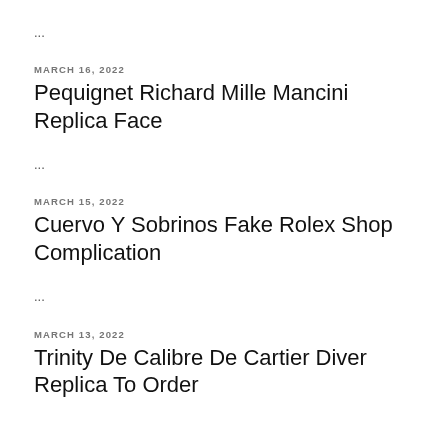...
MARCH 16, 2022
Pequignet Richard Mille Mancini Replica Face
...
MARCH 15, 2022
Cuervo Y Sobrinos Fake Rolex Shop Complication
...
MARCH 13, 2022
Trinity De Calibre De Cartier Diver Replica To Order